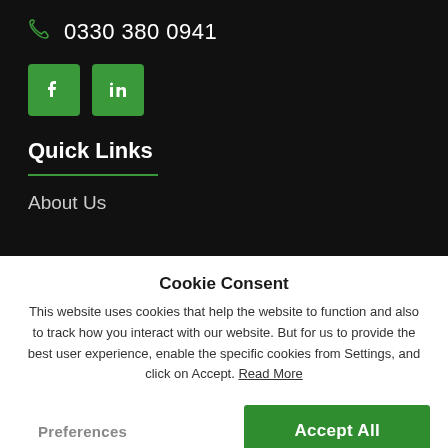0330 380 0941
[Figure (illustration): Green Facebook and LinkedIn social media icon boxes]
Quick Links
About Us
Cookie Consent
This website uses cookies that help the website to function and also to track how you interact with our website. But for us to provide the best user experience, enable the specific cookies from Settings, and click on Accept. Read More
Preferences
Accept All